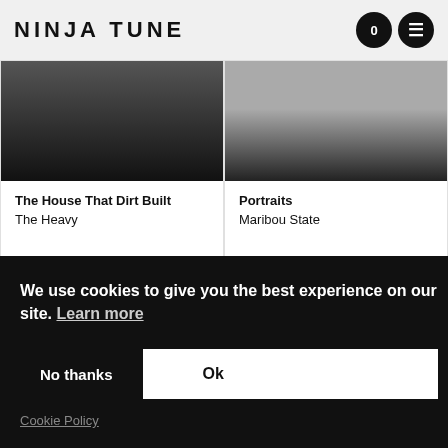NINJA TUNE
The House That Dirt Built
The Heavy
Portraits
Maribou State
Contact Us
About Us
Customer Support
Big Dada
Counter
Brainfeeder
We use cookies to give you the best experience on our site. Learn more
No thanks
Ok